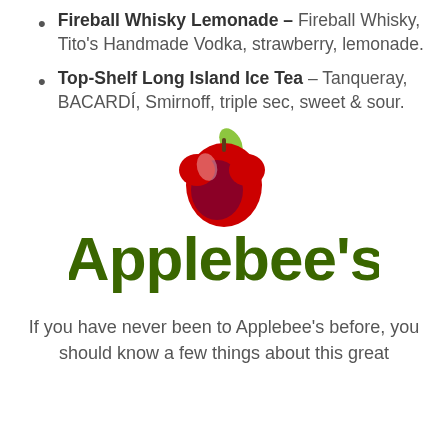Fireball Whisky Lemonade – Fireball Whisky, Tito's Handmade Vodka, strawberry, lemonade.
Top-Shelf Long Island Ice Tea – Tanqueray, BACARDÍ, Smirnoff, triple sec, sweet & sour.
[Figure (logo): Applebee's logo with red apple and green text]
If you have never been to Applebee's before, you should know a few things about this great